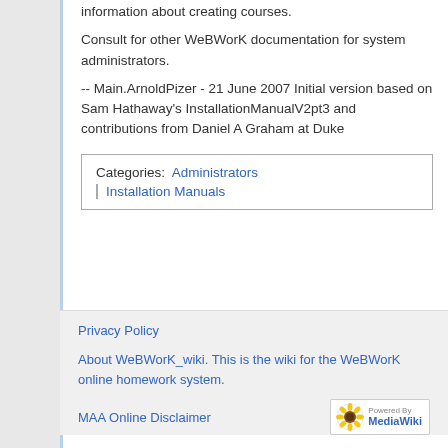information about creating courses.
Consult for other WeBWorK documentation for system administrators.
-- Main.ArnoldPizer - 21 June 2007 Initial version based on Sam Hathaway's InstallationManualV2pt3 and contributions from Daniel A Graham at Duke
Categories:  Administrators | Installation Manuals
Privacy Policy
About WeBWorK_wiki. This is the wiki for the WeBWorK online homework system.
MAA Online Disclaimer